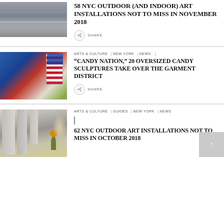[Figure (photo): Black and white photo of architectural steps/exterior]
58 NYC OUTDOOR (AND INDOOR) ART INSTALLATIONS NOT TO MISS IN NOVEMBER 2018
SHARE
[Figure (photo): Colorful crowd scene with large patriotic candy/flag sculptures]
ARTS & CULTURE   NEW YORK   NEWS
“CANDY NATION,” 20 OVERSIZED CANDY SCULPTURES TAKE OVER THE GARMENT DISTRICT
SHARE
[Figure (photo): NYC city street with tall buildings and a flower/sunflower]
ARTS & CULTURE   GUIDES   NEW YORK   NEWS
62 NYC OUTDOOR ART INSTALLATIONS NOT TO MISS IN OCTOBER 2018